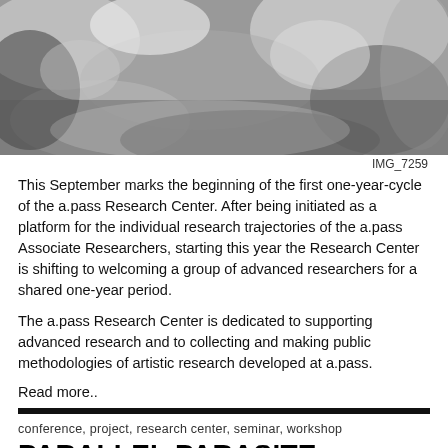[Figure (photo): Black and white close-up macro photograph of organic/natural texture, possibly moss, coral, or mineral formations with light and dark contrast areas]
IMG_7259
This September marks the beginning of the first one-year-cycle of the a.pass Research Center. After being initiated as a platform for the individual research trajectories of the a.pass Associate Researchers, starting this year the Research Center is shifting to welcoming a group of advanced researchers for a shared one-year period.
The a.pass Research Center is dedicated to supporting advanced research and to collecting and making public methodologies of artistic research developed at a.pass.
Read more..
conference, project, research center, seminar, workshop
PARALLEL PARASITE
4  June-30  September  2018